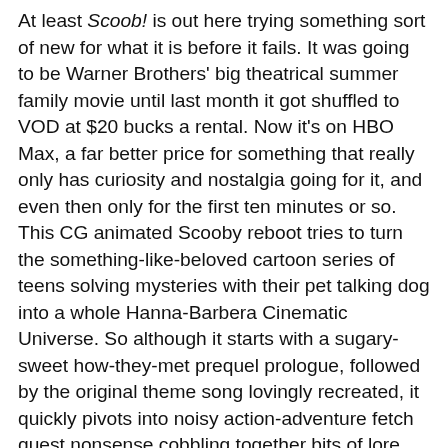At least Scoob! is out here trying something sort of new for what it is before it fails. It was going to be Warner Brothers' big theatrical summer family movie until last month it got shuffled to VOD at $20 bucks a rental. Now it's on HBO Max, a far better price for something that really only has curiosity and nostalgia going for it, and even then only for the first ten minutes or so. This CG animated Scooby reboot tries to turn the something-like-beloved cartoon series of teens solving mysteries with their pet talking dog into a whole Hanna-Barbera Cinematic Universe. So although it starts with a sugary-sweet how-they-met prequel prologue, followed by the original theme song lovingly recreated, it quickly pivots into noisy action-adventure fetch quest nonsense cobbling together bits of lore involving Dastardly and Muttley, Dynomutt, and Captain Caveman in a not-as-wacky-as-it-sounds 70's Saturday Morning stew peppered with stale japes and instantly-dated pop culture references. The good vibes stop cold about 15 minutes in, when Simon Cowell steps in voicing his own waxy CG facsimile. This whole project plays like a bunch of wires got crossed back at the Intellectual Property mine, getting just enough other cartoons mixed up into Scooby's to take it away from what makes that